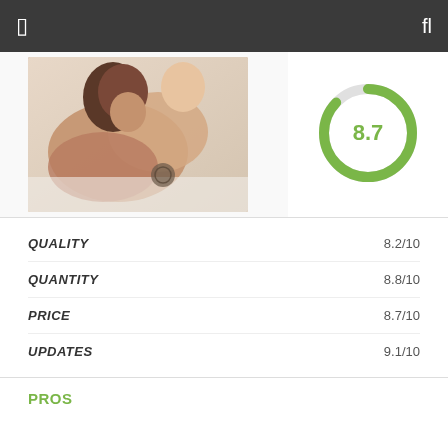[Figure (photo): Adult content photo showing two people in an intimate pose on a white bed]
[Figure (donut-chart): Donut chart showing score of 8.7 out of 10 in green]
| Category | Score |
| --- | --- |
| QUALITY | 8.2/10 |
| QUANTITY | 8.8/10 |
| PRICE | 8.7/10 |
| UPDATES | 9.1/10 |
PROS